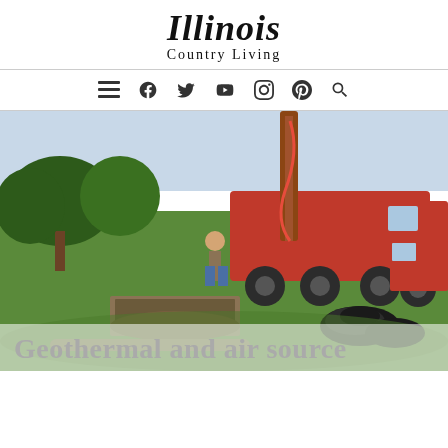Illinois Country Living
[Figure (other): Navigation bar with icons: hamburger menu, Facebook, Twitter, YouTube, Instagram, Pinterest, Search]
[Figure (photo): A red drilling rig truck on a green lawn with a worker operating it, coils of black pipe on the ground, trees in background. Geothermal well drilling scene.]
Geothermal and air source